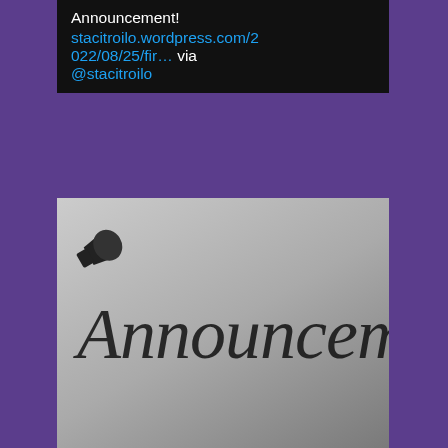Announcement! stacitroilo.wordpress.com/2022/08/25/fir… via @stacitroilo
[Figure (photo): Banner image with cursive script text reading 'Announcement' on a gray gradient background with a megaphone/loudspeaker icon in the upper left]
stacitroilo.wordpress.com
A First-of-its-Kind Announcement!
[Figure (other): Tweet action icons: comment bubble and heart/like icons]
Teri Polen @TPo... · 4h
#BlogTour The Witches of Moonshyne Manor